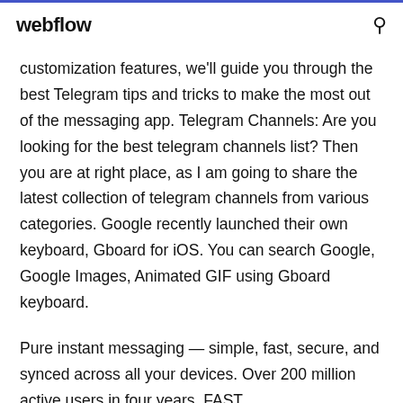webflow
customization features, we'll guide you through the best Telegram tips and tricks to make the most out of the messaging app. Telegram Channels: Are you looking for the best telegram channels list? Then you are at right place, as I am going to share the latest collection of telegram channels from various categories. Google recently launched their own keyboard, Gboard for iOS. You can search Google, Google Images, Animated GIF using Gboard keyboard.
Pure instant messaging — simple, fast, secure, and synced across all your devices. Over 200 million active users in four years. FAST.